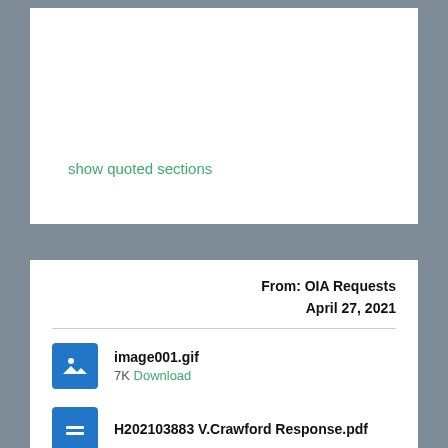show quoted sections
From: OIA Requests
April 27, 2021
[Figure (screenshot): Image attachment icon (blue square with photo/mountain icon) for image001.gif]
image001.gif
7K Download
[Figure (screenshot): Document attachment icon (blue square with lines icon) for H202103883 V.Crawford Response.pdf]
H202103883 V.Crawford Response.pdf